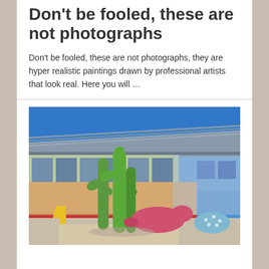Don't be fooled, these are not photographs
Don't be fooled, these are not photographs, they are hyper realistic paintings drawn by professional artists that look real. Here you will …
[Figure (photo): Outdoor playground area in front of a large modern building with a metal roof and large windows. In the foreground are colorful sculptural play structures including tall green cactus-like figures, a pink snake/bird shape, and a blue dotted mound. A yellow slide is visible in the background. The sky is bright blue.]